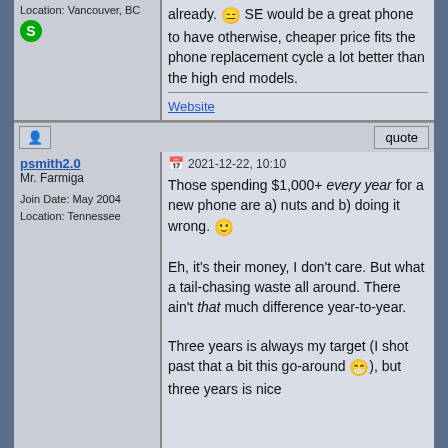Location: Vancouver, BC
already. 😑 SE would be a great phone to have otherwise, cheaper price fits the phone replacement cycle a lot better than the high end models.
Website
psmith2.0
Mr. Farmiga
Join Date: May 2004
Location: Tennessee
2021-12-22, 10:10
Those spending $1,000+ every year for a new phone are a) nuts and b) doing it wrong. 🙂
Eh, it's their money, I don't care. But what a tail-chasing waste all around. There ain't that much difference year-to-year.
Three years is always my target (I shot past that a bit this go-around 😁), but three years is nice